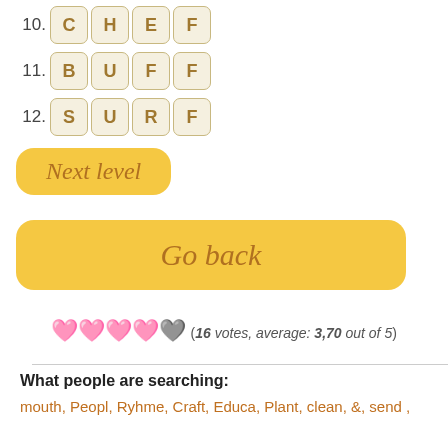10. CHEF
11. BUFF
12. SURF
Next level
Go back
(16 votes, average: 3,70 out of 5)
What people are searching:
mouth, Peopl, Ryhme, Craft, Educa, Plant, clean, &, send ,